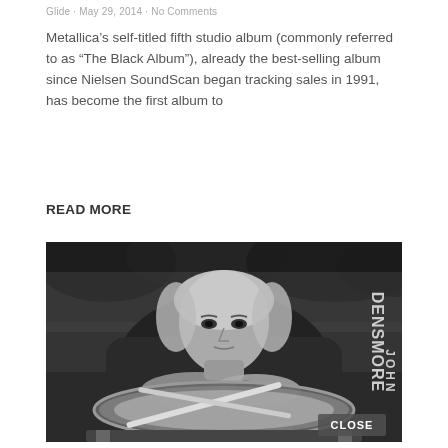Glide · May 29, 2014 · No Comments
Metallica’s self-titled fifth studio album (commonly referred to as “The Black Album”), already the best-selling album since Nielsen SoundScan began tracking sales in 1991, has become the first album to
READ MORE
[Figure (photo): Black and white photograph of a man with long gray-blonde hair leaning over a snare drum with drumsticks in front of him, outdoors with trees in background. Text overlay reads 'DENSMORE JOHN' vertically on right side. A 'CLOSE' button appears in the lower right corner of the image.]